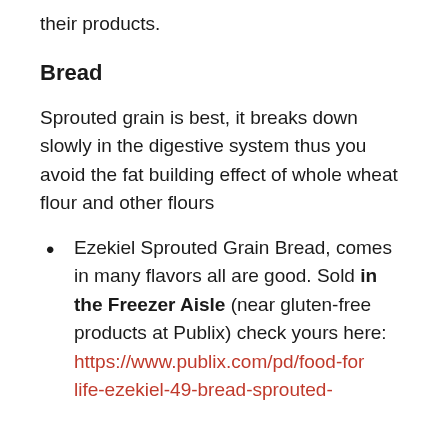their products.
Bread
Sprouted grain is best, it breaks down slowly in the digestive system thus you avoid the fat building effect of whole wheat flour and other flours
Ezekiel Sprouted Grain Bread, comes in many flavors all are good. Sold in the Freezer Aisle (near gluten-free products at Publix) check yours here: https://www.publix.com/pd/food-for-life-ezekiel-49-bread-sprouted-